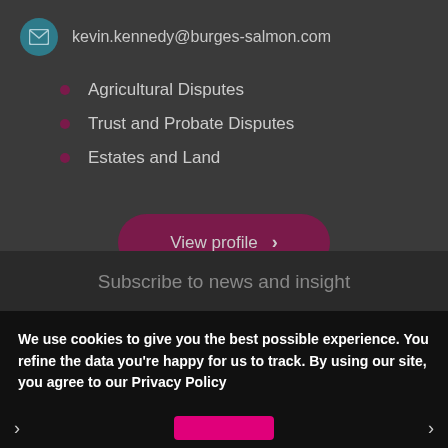kevin.kennedy@burges-salmon.com
Agricultural Disputes
Trust and Probate Disputes
Estates and Land
View profile >
Subscribe to news and insight
We use cookies to give you the best possible experience. You refine the data you're happy for us to track. By using our site, you agree to our Privacy Policy